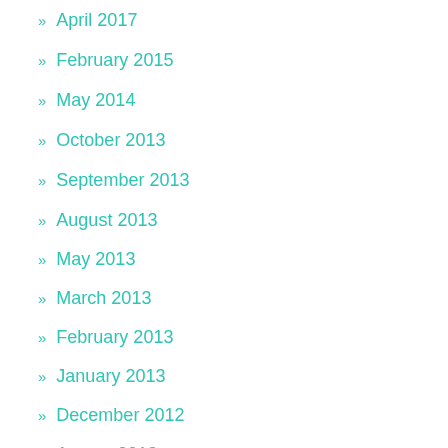» April 2017
» February 2015
» May 2014
» October 2013
» September 2013
» August 2013
» May 2013
» March 2013
» February 2013
» January 2013
» December 2012
» August 2012
» June 2012
» September 2011
» May 2011
» December 2010